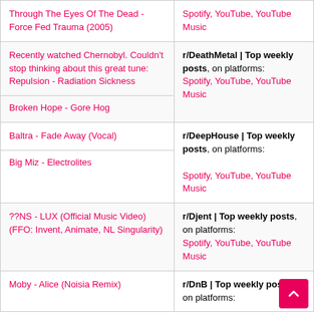| Track | Source |
| --- | --- |
| Through The Eyes Of The Dead - Force Fed Trauma (2005) | Spotify, YouTube, YouTube Music |
| Recently watched Chernobyl. Couldn't stop thinking about this great tune: Repulsion - Radiation Sickness | r/DeathMetal | Top weekly posts, on platforms: Spotify, YouTube, YouTube Music |
| Broken Hope - Gore Hog |  |
| Baltra - Fade Away (Vocal) | r/DeepHouse | Top weekly posts, on platforms: Spotify, YouTube, YouTube Music |
| Big Miz - Electrolites |  |
| ??NS - LUX (Official Music Video) (FFO: Invent, Animate, NL Singularity) | r/Djent | Top weekly posts, on platforms: Spotify, YouTube, YouTube Music |
| Moby - Alice (Noisia Remix) | r/DnB | Top weekly posts, on platforms: |